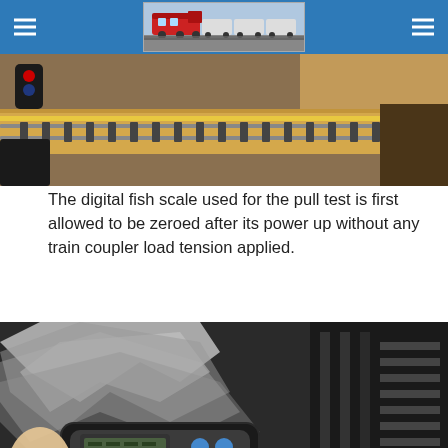Navigation header with hamburger menus and train logo image
[Figure (photo): Model railroad track setup on a wooden board with signal lights visible]
The digital fish scale used for the pull test is first allowed to be zeroed after its power up without any train coupler load tension applied.
[Figure (photo): Digital fish scale device being held near model railroad track with foil insulation in the background]